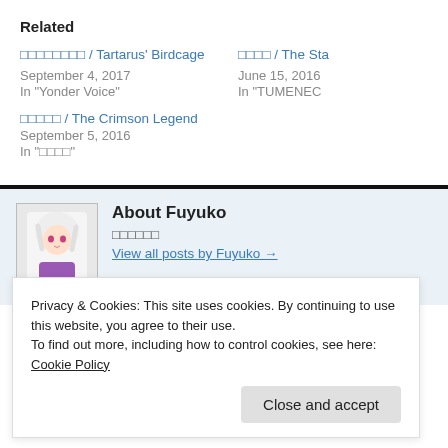Related
□□□□□□□□ / Tartarus' Birdcage
September 4, 2017
In "Yonder Voice"
□□□□ / The Sta...
June 15, 2016
In "TUMENEC..."
□□□□□ / The Crimson Legend
September 5, 2016
In "□□□□"
About Fuyuko
□□□□□□
View all posts by Fuyuko →
Privacy & Cookies: This site uses cookies. By continuing to use this website, you agree to their use.
To find out more, including how to control cookies, see here: Cookie Policy
Close and accept